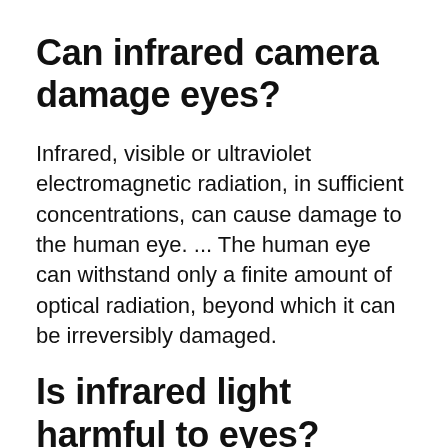Can infrared camera damage eyes?
Infrared, visible or ultraviolet electromagnetic radiation, in sufficient concentrations, can cause damage to the human eye. ... The human eye can withstand only a finite amount of optical radiation, beyond which it can be irreversibly damaged.
Is infrared light harmful to eyes?
The most common eye disease associated with near-infrared radiation is cataracts. Prolonged exposure to IR radiation...